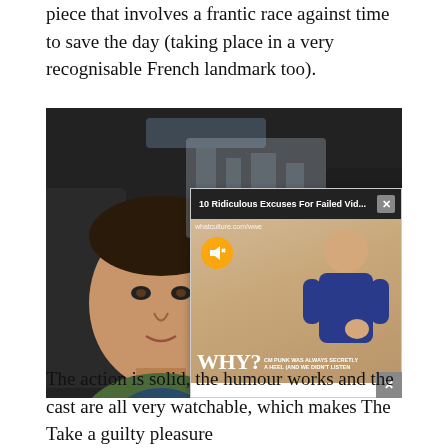piece that involves a frantic race against time to save the day (taking place in a very recognisable French landmark too).
[Figure (screenshot): Movie scene showing two men sitting in a car interior — a young white man with dark hair on the left looking surprised, and a Black man visible on the right. An advertisement popup overlay appears in the lower right corner showing '10 Ridiculous Excuses For Failed Vid...' with an X close button, and below it a video thumbnail showing a bald man with text 'WHY? CM PUNK WAS ALWAYS SECRETLY A HEEL (AND WE DIDN'T LISTEN)' with a mute button icon and whatculture.com/wwe watermark.]
The action is solid, the humour works and the cast are all very watchable, which makes The Take a guilty pleasure